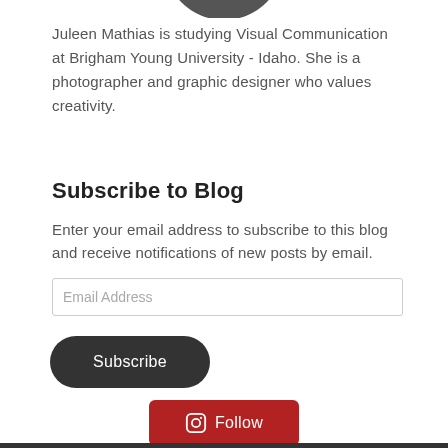[Figure (photo): Partial view of a circular profile photo cropped at the top of the page]
Juleen Mathias is studying Visual Communication at Brigham Young University - Idaho. She is a photographer and graphic designer who values creativity.
Subscribe to Blog
Enter your email address to subscribe to this blog and receive notifications of new posts by email.
Email Address
Subscribe
Follow